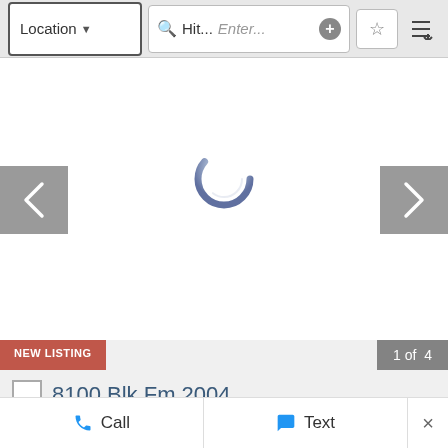[Figure (screenshot): Mobile app search bar with Location dropdown, search field showing 'Hit...', Enter placeholder, plus button, star/favorites button, and sort button]
[Figure (screenshot): Image carousel area showing a loading spinner circle in the center, with left and right navigation arrow buttons on gray backgrounds]
NEW LISTING
1 of 4
8100 Blk Fm 2004
8100 Blk Fm 2004 Hitchcock, Texas 77563 United St...
$2,070,000
Call
Text